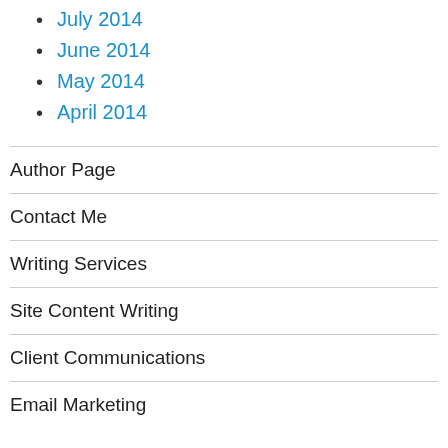July 2014
June 2014
May 2014
April 2014
Author Page
Contact Me
Writing Services
Site Content Writing
Client Communications
Email Marketing